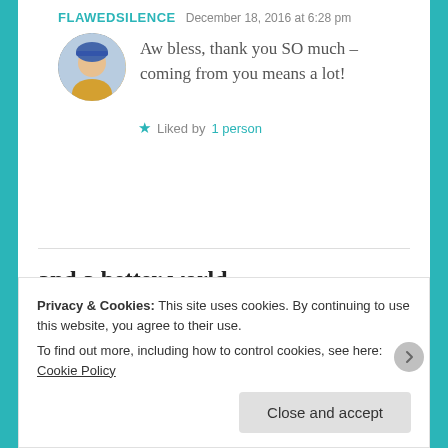FLAWEDSILENCE   December 18, 2016 at 6:28 pm
Aw bless, thank you SO much – coming from you means a lot!
★ Liked by 1 person
and a better world.
[Figure (illustration): A blue Apply button and a circular photo of a man looking upward]
Privacy & Cookies: This site uses cookies. By continuing to use this website, you agree to their use.
To find out more, including how to control cookies, see here: Cookie Policy
Close and accept